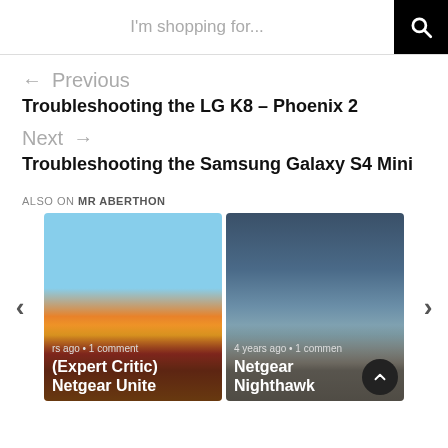I'm shopping for...
← Previous
Troubleshooting the LG K8 – Phoenix 2
Next →
Troubleshooting the Samsung Galaxy S4 Mini
ALSO ON MR ABERTHON
[Figure (screenshot): Card thumbnail showing colorful scene; overlay text: 'rs ago • 1 comment' and '(Expert Critic) Netgear Unite']
[Figure (screenshot): Card thumbnail showing hand holding device; overlay text: '4 years ago • 1 comment' and 'Netgear Nighthawk Mobile Ro...']